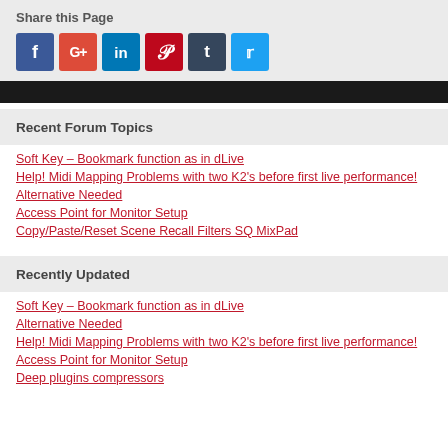Share this Page
[Figure (infographic): Social sharing icons: Facebook, Google+, LinkedIn, Pinterest, Tumblr, Twitter]
Recent Forum Topics
Soft Key – Bookmark function as in dLive
Help! Midi Mapping Problems with two K2's before first live performance!
Alternative Needed
Access Point for Monitor Setup
Copy/Paste/Reset Scene Recall Filters SQ MixPad
Recently Updated
Soft Key – Bookmark function as in dLive
Alternative Needed
Help! Midi Mapping Problems with two K2's before first live performance!
Access Point for Monitor Setup
Deep plugins compressors